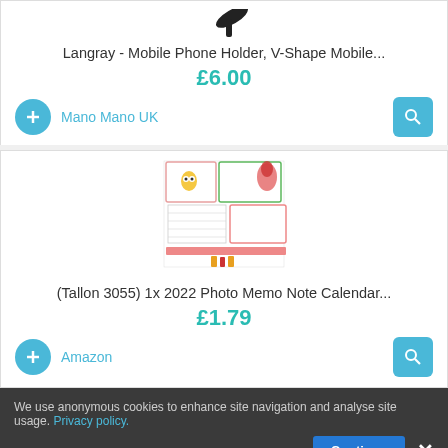Langray - Mobile Phone Holder, V-Shape Mobile...
£6.00
Mano Mano UK
[Figure (photo): Photo of a 2022 Photo Memo Note Calendar product pages]
(Tallon 3055) 1x 2022 Photo Memo Note Calendar...
£1.79
Amazon
We use anonymous cookies to enhance site navigation and analyse site usage. Privacy policy.